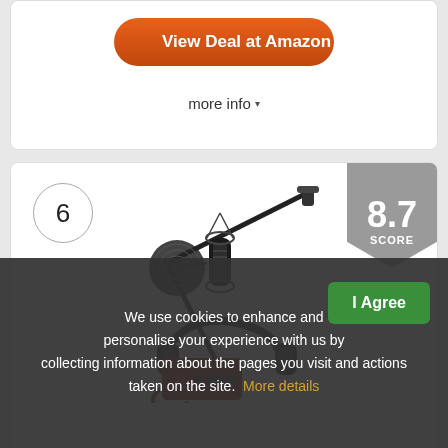View Deal at Amazon
more info ▾
6
8.7 SCORE
[Figure (photo): Microphone bundle product photo showing a condenser microphone with pop filter on a boom arm stand, with over-ear headphones, a red audio interface, and cables]
We use cookies to enhance and personalise your experience with us by collecting information about the pages you visit and actions taken on the site. More details
I Agree